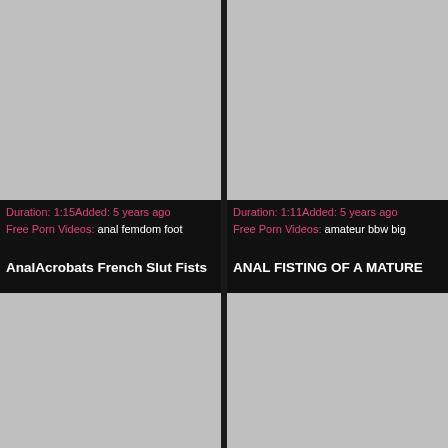[Figure (photo): Gray placeholder thumbnail, top left]
[Figure (photo): Gray placeholder thumbnail, top right]
Duration: 1:15Added: 5 years ago
Free Porn Videos: anal femdom foot
Duration: 1:11Added: 5 years ago
Free Porn Videos: amateur bbw big
AnalAcrobats French Slut Fists
ANAL FISTING OF A MATURE
[Figure (photo): Gray placeholder thumbnail, bottom left]
[Figure (photo): Gray placeholder thumbnail, bottom right]